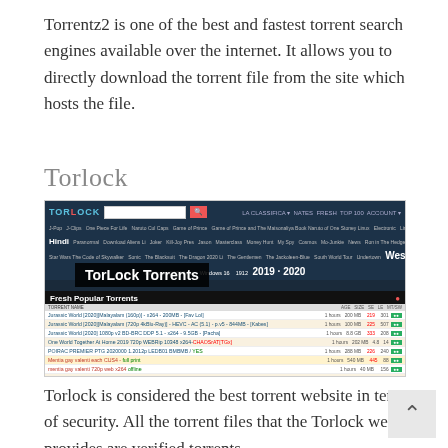Torrentz2 is one of the best and fastest torrent search engines available over the internet. It allows you to directly download the torrent file from the site which hosts the file.
Torlock
[Figure (screenshot): Screenshot of the TorLock Torrents website showing the homepage with navigation menu, search bar, and a list of fresh popular torrents including movies and TV shows.]
Torlock is considered the best torrent website in terms of security. All the torrent files that the Torlock website provides are verified torrents.